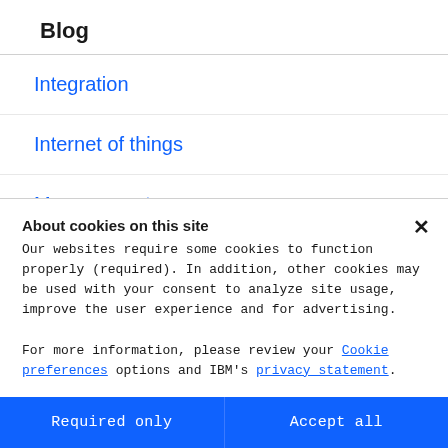Blog
Integration
Internet of things
Management
Migration
Mobile
About cookies on this site
Our websites require some cookies to function properly (required). In addition, other cookies may be used with your consent to analyze site usage, improve the user experience and for advertising.

For more information, please review your Cookie preferences options and IBM's privacy statement.
Required only | Accept all